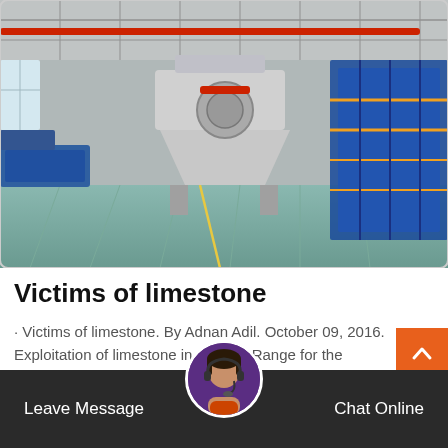[Figure (photo): Interior of a large industrial factory/manufacturing plant with heavy machinery, a large crusher or industrial machine in the center, workers in blue uniforms on the right, and a Live Chat bubble overlay in the bottom right corner.]
Victims of limestone
· Victims of limestone. By Adnan Adil. October 09, 2016. Exploitation of limestone in the Salt Range for the manufacturing of cement has become a ...